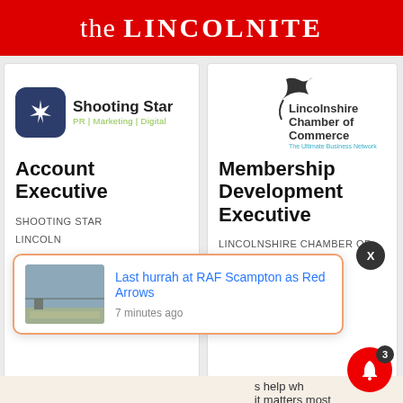the LINCOLNITE
[Figure (logo): Shooting Star PR | Marketing | Digital logo with dark blue rounded square icon and star]
Account Executive
SHOOTING STAR
LINCOLN
[Figure (logo): Lincolnshire Chamber of Commerce logo with bird silhouette and text 'The Ultimate Business Network']
Membership Development Executive
LINCOLNSHIRE CHAMBER OF
LINCOLNSHIRE
Sal
CYB
LINC
[Figure (screenshot): Notification popup: Last hurrah at RAF Scampton as Red Arrows, 7 minutes ago]
Last hurrah at RAF Scampton as Red Arrows
7 minutes ago
ildren
ment
s help wh
it matters most
Talk to the experts